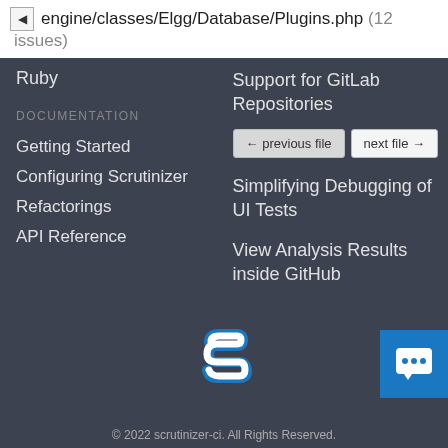engine/classes/Elgg/Database/Plugins.php (12 issues)
Ruby
Support for GitLab Repositories
← previous file
next file →
DOCUMENTATION
Simplifying Debugging of UI Tests
Getting Started
Configuring Scrutinizer
Refactorings
API Reference
View Analysis Results inside GitHub
[Figure (logo): Scrutinizer-CI logo: stylized white S on dark blue background]
[Figure (other): Blue chat/support button icon in bottom right corner]
© 2022 scrutinizer-ci. All Rights Reserved.